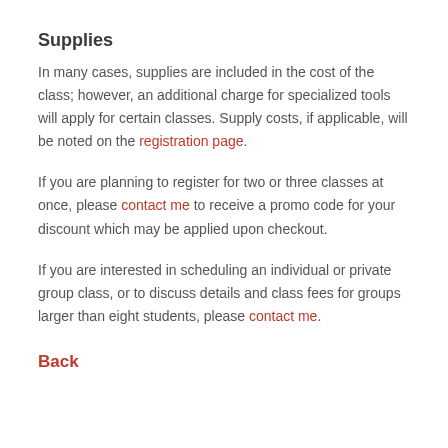Supplies
In many cases, supplies are included in the cost of the class; however, an additional charge for specialized tools will apply for certain classes. Supply costs, if applicable, will be noted on the registration page.
If you are planning to register for two or three classes at once, please contact me to receive a promo code for your discount which may be applied upon checkout.
If you are interested in scheduling an individual or private group class, or to discuss details and class fees for groups larger than eight students, please contact me.
Back